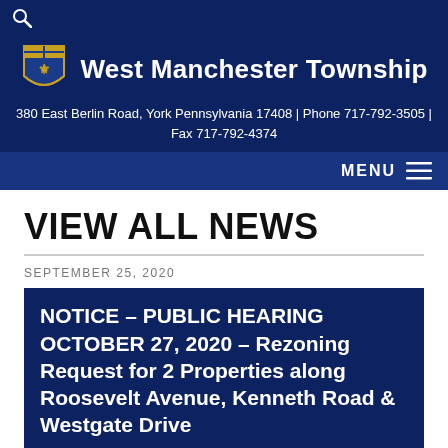West Manchester Township — 380 East Berlin Road, York Pennsylvania 17408 | Phone 717-792-3505 | Fax 717-792-4374
VIEW ALL NEWS
SEPTEMBER 25, 2020
NOTICE – PUBLIC HEARING OCTOBER 27, 2020 – Rezoning Request for 2 Properties along Roosevelt Avenue, Kenneth Road & Westgate Drive